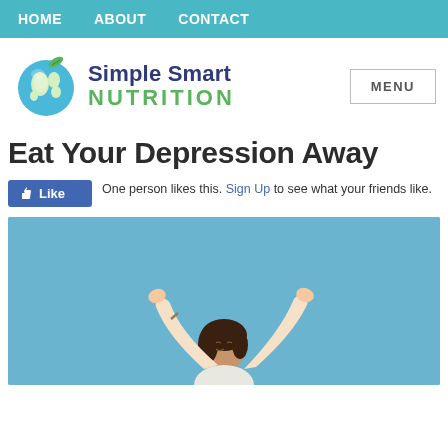HOME   ABOUT   CONTACT
[Figure (logo): Simple Smart Nutrition logo with globe icon and leaf]
Eat Your Depression Away
One person likes this. Sign Up to see what your friends like.
[Figure (photo): Woman with arms raised joyfully against a blue background]